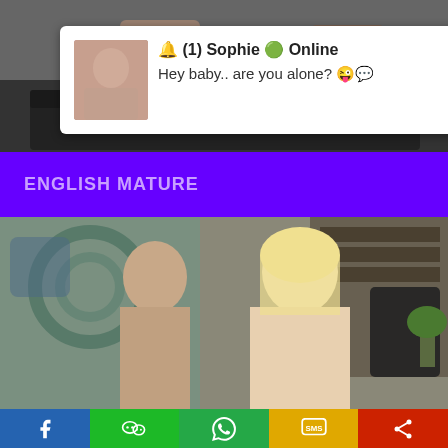[Figure (screenshot): Top background image showing people on a couch in muted tones]
🔔 (1) Sophie 🟢 Online
Hey baby.. are you alone? 😜💬
ENGLISH MATURE
[Figure (photo): A man and a blonde woman in an intimate scene in an office setting with colorful stained-glass style wall art]
[Figure (screenshot): Share bar with Facebook, WeChat, WhatsApp, SMS, and share icons]